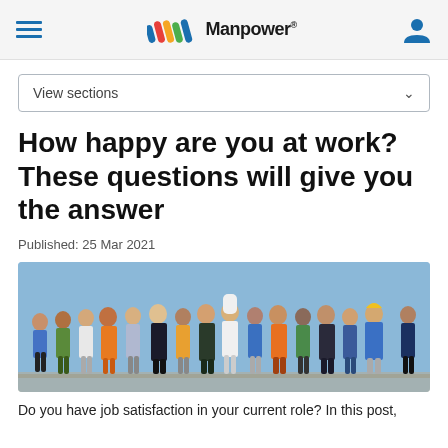Manpower
View sections
How happy are you at work? These questions will give you the answer
Published: 25 Mar 2021
[Figure (illustration): Illustration of a diverse group of workers in various occupations (construction, medical, food service, office, etc.) standing together against a blue background]
Do you have job satisfaction in your current role? In this post,